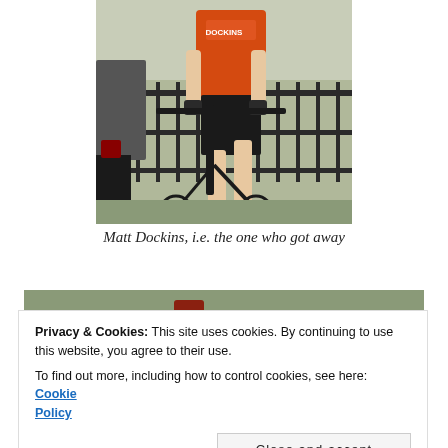[Figure (photo): Cyclist wearing orange and black jersey with 'Dockins' text, riding a road bike during a race. Black iron fence and trees visible in background. Another cyclist partially visible on the left.]
Matt Dockins, i.e. the one who got away
[Figure (photo): Partial view of another cycling race photo, showing grassy terrain.]
Privacy & Cookies: This site uses cookies. By continuing to use this website, you agree to their use.
To find out more, including how to control cookies, see here: Cookie Policy
Close and accept